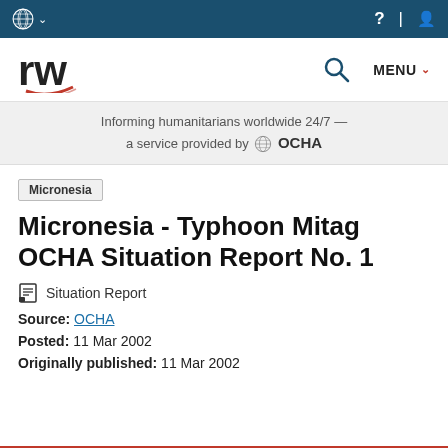ReliefWeb navigation bar with UN logo and menu icons
Informing humanitarians worldwide 24/7 — a service provided by OCHA
Micronesia
Micronesia - Typhoon Mitag OCHA Situation Report No. 1
Situation Report
Source: OCHA
Posted: 11 Mar 2002
Originally published: 11 Mar 2002